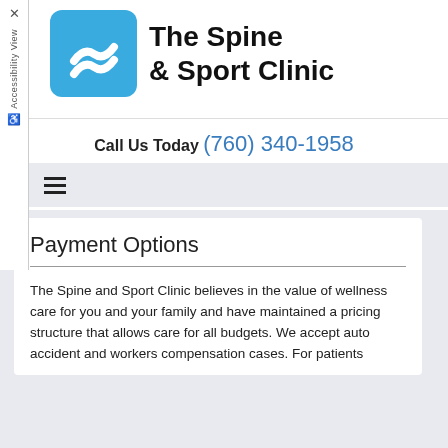[Figure (logo): The Spine & Sport Clinic logo with blue rounded square and white wave/chevron icon]
The Spine & Sport Clinic
Call Us Today (760) 340-1958
Payment Options
The Spine and Sport Clinic believes in the value of wellness care for you and your family and have maintained a pricing structure that allows care for all budgets. We accept auto accident and workers compensation cases. For patients